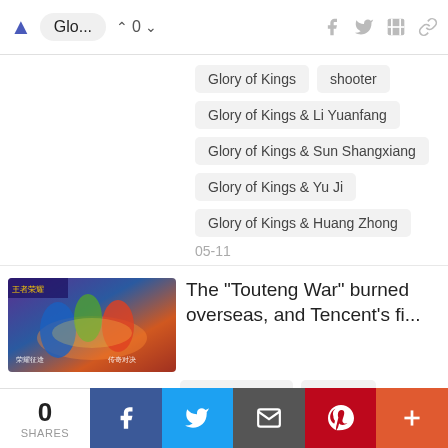Glo... ^ 0 v
Glory of Kings
shooter
Glory of Kings & Li Yuanfang
Glory of Kings & Sun Shangxiang
Glory of Kings & Yu Ji
Glory of Kings & Huang Zhong
05-11
[Figure (screenshot): Thumbnail image of a mobile game (Glory of Kings / Honor of Kings) showing animated game characters in colorful battle scene with Chinese text overlay]
The "Touteng War" burned overseas, and Tencent's fi...
Endless duels
Tencent
Mu Pupil Technology
fist
0 SHARES  [Facebook] [Twitter] [Email] [Pinterest] [More]